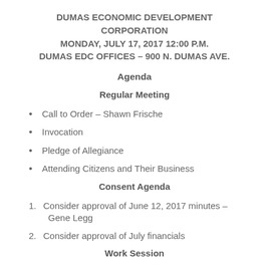DUMAS ECONOMIC DEVELOPMENT CORPORATION
MONDAY, JULY 17, 2017 12:00 P.M.
DUMAS EDC OFFICES – 900 N. DUMAS AVE.
Agenda
Regular Meeting
Call to Order – Shawn Frische
Invocation
Pledge of Allegiance
Attending Citizens and Their Business
Consent Agenda
Consider approval of June 12, 2017 minutes – Gene Legg
Consider approval of July financials
Work Session